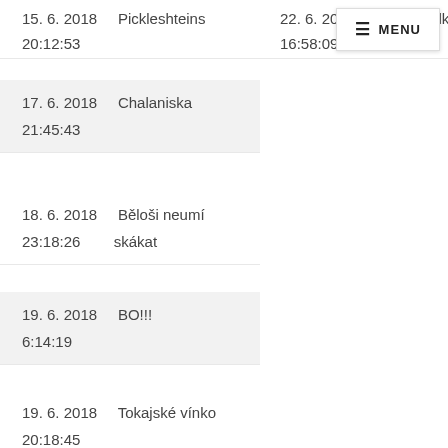15. 6. 2018  Pickleshteins  20:12:53
22. 6. 2018  Pešiho holky  16:58:09
17. 6. 2018  Chalaniska  21:45:43
18. 6. 2018  Běloši neumí skákat  23:18:26
19. 6. 2018  BO!!!  6:14:19
19. 6. 2018  Tokajské vínko  20:18:45